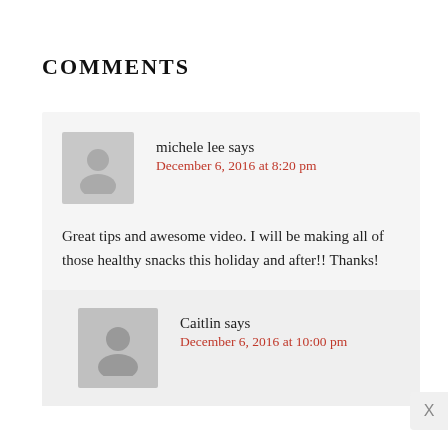COMMENTS
michele lee says
December 6, 2016 at 8:20 pm
Great tips and awesome video. I will be making all of those healthy snacks this holiday and after!! Thanks!
Caitlin says
December 6, 2016 at 10:00 pm